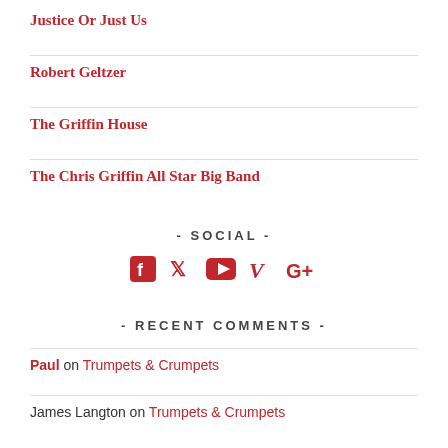Justice Or Just Us
Robert Geltzer
The Griffin House
The Chris Griffin All Star Big Band
- SOCIAL -
[Figure (infographic): Social media icons: Facebook, Twitter, YouTube, Vimeo, Google+]
- RECENT COMMENTS -
Paul on Trumpets & Crumpets
James Langton on Trumpets & Crumpets